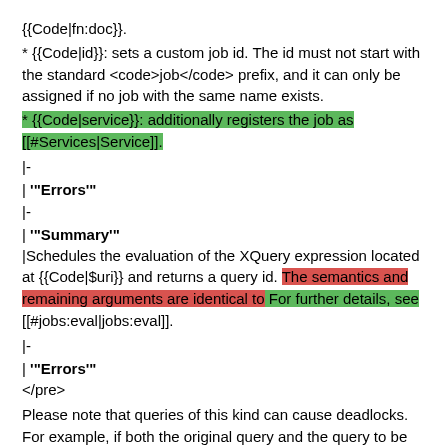{{Code|fn:doc}}.
* {{Code|id}}: sets a custom job id. The id must not start with the standard <code>job</code> prefix, and it can only be assigned if no job with the same name exists.
* {{Code|service}}: additionally registers the job as [[#Services|Service]].
|-
| '''Errors'''
|-
| '''Summary'''
|Schedules the evaluation of the XQuery expression located at {{Code|$uri}} and returns a query id. The semantics and remaining arguments are identical to For further details, see [[#jobs:eval|jobs:eval]].
|-
| '''Errors'''
</pre>
Please note that queries of this kind can cause deadlocks. For example, if both the original query and the query to be executed asynchronously perform updates on the same